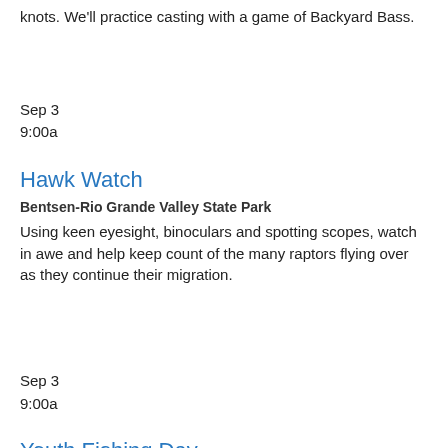knots. We'll practice casting with a game of Backyard Bass.
Sep 3
9:00a
Hawk Watch
Bentsen-Rio Grande Valley State Park
Using keen eyesight, binoculars and spotting scopes, watch in awe and help keep count of the many raptors flying over as they continue their migration.
Sep 3
9:00a
Youth Fishing Day
Sea Center Texas
Catch-and-release fishing at Sea Center Texas